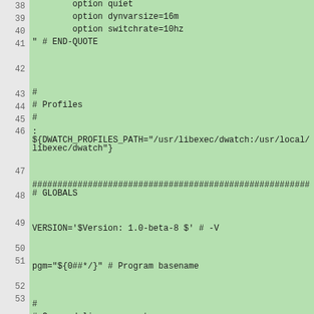Code listing lines 38-61: shell script with options, profiles, globals, and command-line arguments sections